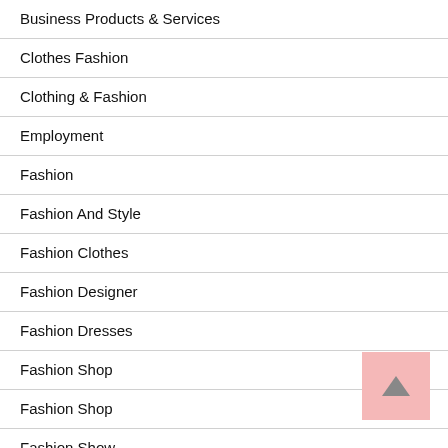Business Products & Services
Clothes Fashion
Clothing & Fashion
Employment
Fashion
Fashion And Style
Fashion Clothes
Fashion Designer
Fashion Dresses
Fashion Shop
Fashion Shop
Fashion Show
Fashion Store
Fashion Style